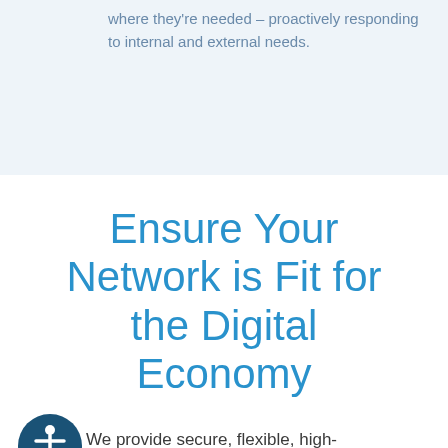where they're needed – proactively responding to internal and external needs.
Ensure Your Network is Fit for the Digital Economy
We provide secure, flexible, high-